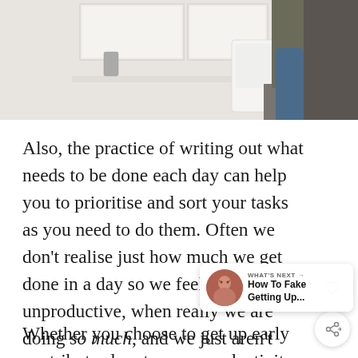[Figure (photo): Partial photo of a person in a kitchen setting, cropped to show the lower body in jeans with a green top, kitchen cabinetry and a chair visible in the background.]
Also, the practice of writing out what needs to be done each day can help you to prioritise and sort your tasks as you need to do them. Often we don't realise just how much we get done in a day so we feel unproductive, when really we are doing so much, and we just aren't taking note.
Whether you choose to get up early contributes less to your productivity levels